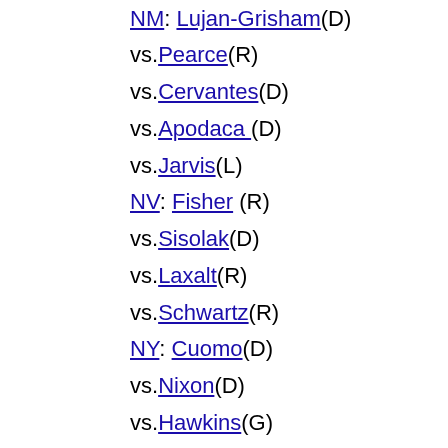Marchand (D)
NM: Lujan-Grisham(D) vs.Pearce(R)
vs.Cervantes(D)
vs.Apodaca (D)
vs.Jarvis(L)
NV: Fisher (R) vs.Sisolak(D)
vs.Laxalt(R)
vs.Schwartz(R)
NY: Cuomo(D) vs.Nixon(D)
vs.Hawkins(G)
vs.Molinaro(R)
OH: DeWine(R) vs.Husted(R,Lt.Gov.)
vs.Kucinich(D)
vs.Sutton(D,Lt.Gov)
vs.Taylor(R) vs.Jim Renacci (R) vs.Connie Pillich (D)
vs.Schiavoni(D)
vs.Whaley(D)
vs.Cordray(D)
OK: Stitt(R) vs.Cornett(R)
vs.Edmondson(D)
vs.Richardson(R)
vs.Johnson(D)
vs.Powell(L)